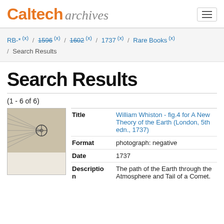Caltech Archives
RB-* (x) / 1596 (x) / 1602 (x) / 1737 (x) / Rare Books (x) / Search Results
Search Results
(1 - 6 of 6)
[Figure (photo): Thumbnail of William Whiston figure 4 showing a comet diagram with a circular target and radiating lines on a brown/beige background]
| Field | Value |
| --- | --- |
| Title | William Whiston - fig.4 for A New Theory of the Earth (London, 5th edn., 1737) |
| Format | photograph: negative |
| Date | 1737 |
| Description | The path of the Earth through the Atmosphere and Tail of a Comet. |